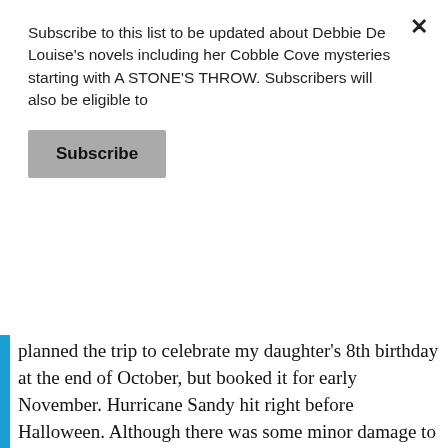Subscribe to this list to be updated about Debbie De Louise's novels including her Cobble Cove mysteries starting with A STONE'S THROW. Subscribers will also be eligible to
Subscribe
planned the trip to celebrate my daughter's 8th birthday at the end of October, but booked it for early November. Hurricane Sandy hit right before Halloween. Although there was some minor damage to our home and we lost power for a day, some family members lost theirs for over two weeks including my 85-year old mother. With everything in such a state of chaos, we weren't sure we should go. Adding to our pre-travel jitters, I had to make room for my mother. I set her up in her granddaughter's